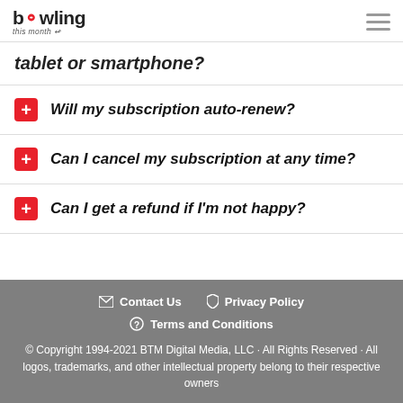bowling this month [logo with hamburger menu]
tablet or smartphone?
Will my subscription auto-renew?
Can I cancel my subscription at any time?
Can I get a refund if I'm not happy?
Contact Us  Privacy Policy  Terms and Conditions  © Copyright 1994-2021 BTM Digital Media, LLC · All Rights Reserved · All logos, trademarks, and other intellectual property belong to their respective owners